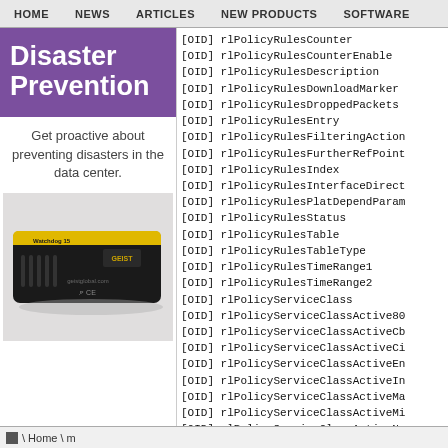HOME  NEWS  ARTICLES  NEW PRODUCTS  SOFTWARE
Disaster Prevention
Get proactive about preventing disasters in the data center.
[Figure (photo): Photo of a black hardware device with yellow stripe labeled 'Watchdog 15', manufactured by GEIST, with CE marking]
[OID]  rlPolicyRulesCounter
[OID]  rlPolicyRulesCounterEnable
[OID]  rlPolicyRulesDescription
[OID]  rlPolicyRulesDownloadMarker
[OID]  rlPolicyRulesDroppedPackets
[OID]  rlPolicyRulesEntry
[OID]  rlPolicyRulesFilteringAction
[OID]  rlPolicyRulesFurtherRefPoint
[OID]  rlPolicyRulesIndex
[OID]  rlPolicyRulesInterfaceDirect
[OID]  rlPolicyRulesPlatDependParam
[OID]  rlPolicyRulesStatus
[OID]  rlPolicyRulesTable
[OID]  rlPolicyRulesTableType
[OID]  rlPolicyRulesTimeRange1
[OID]  rlPolicyRulesTimeRange2
[OID]  rlPolicyServiceClass
[OID]  rlPolicyServiceClassActive80
[OID]  rlPolicyServiceClassActiveCb
[OID]  rlPolicyServiceClassActiveCi
[OID]  rlPolicyServiceClassActiveEn
[OID]  rlPolicyServiceClassActiveIn
[OID]  rlPolicyServiceClassActiveMa
[OID]  rlPolicyServiceClassActiveMi
[OID]  rlPolicyServiceClassActiveNa
\ Home \ m